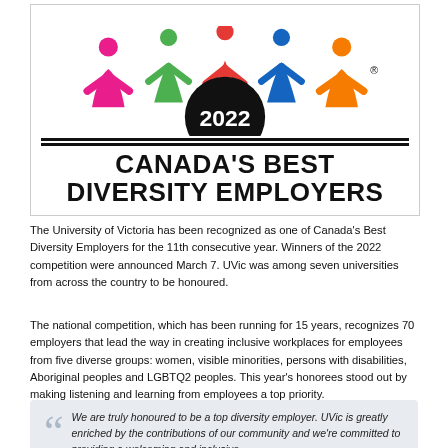[Figure (logo): Canada's Best Diversity Employers 2022 award logo with colorful human figures forming a circle above a black circle badge with '2022' text, above two horizontal lines and bold text 'CANADA'S BEST DIVERSITY EMPLOYERS']
The University of Victoria has been recognized as one of Canada's Best Diversity Employers for the 11th consecutive year. Winners of the 2022 competition were announced March 7. UVic was among seven universities from across the country to be honoured.
The national competition, which has been running for 15 years, recognizes 70 employers that lead the way in creating inclusive workplaces for employees from five diverse groups: women, visible minorities, persons with disabilities, Aboriginal peoples and LGBTQ2 peoples. This year's honorees stood out by making listening and learning from employees a top priority.
We are truly honoured to be a top diversity employer. UVic is greatly enriched by the contributions of our community and we're committed to providing a welcoming and inclusive